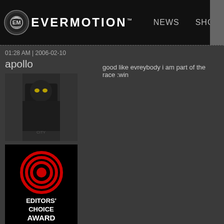[Figure (screenshot): Evermotion website header with logo, NEWS and SHOP navigation links]
01:28 AM | 2006-02-10
apollo
[Figure (photo): Avatar image of a dark armored figure]
[Figure (illustration): Editors' Choice Award badge with red concentric circles target logo on black background]
Join Date: Apr 2004
Posts: 206
good like evreybody i am part of the race :win
01:28 AM | 2006-02-10
dzudzu
yeah yeah ... it's just a challenge ...